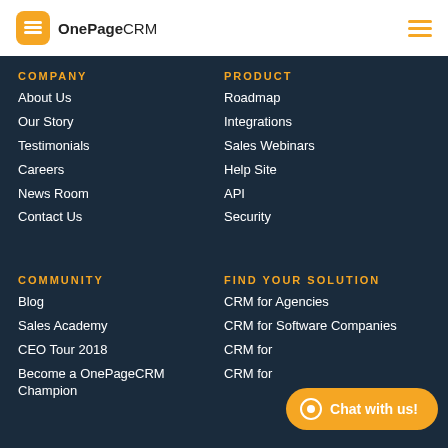OnePageCRM
COMPANY
About Us
Our Story
Testimonials
Careers
News Room
Contact Us
PRODUCT
Roadmap
Integrations
Sales Webinars
Help Site
API
Security
COMMUNITY
Blog
Sales Academy
CEO Tour 2018
Become a OnePageCRM Champion
FIND YOUR SOLUTION
CRM for Agencies
CRM for Software Companies
CRM for
CRM for